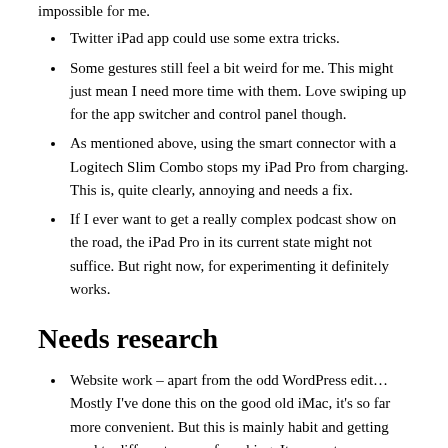screenshots above next to each other proves to be impossible for me.
Twitter iPad app could use some extra tricks.
Some gestures still feel a bit weird for me. This might just mean I need more time with them. Love swiping up for the app switcher and control panel though.
As mentioned above, using the smart connector with a Logitech Slim Combo stops my iPad Pro from charging. This is, quite clearly, annoying and needs a fix.
If I ever want to get a really complex podcast show on the road, the iPad Pro in its current state might not suffice. But right now, for experimenting it definitely works.
Needs research
Website work – apart from the odd WordPress edit… Mostly I've done this on the good old iMac, it's so far more convenient. But this is mainly habit and getting used to different ways of working. It seems to me combining this